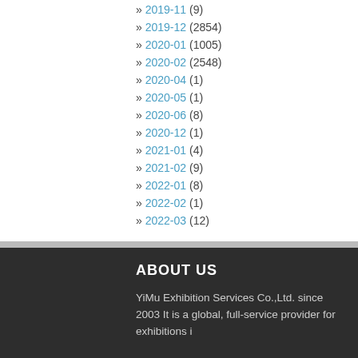» 2019-11 (9)
» 2019-12 (2854)
» 2020-01 (1005)
» 2020-02 (2548)
» 2020-04 (1)
» 2020-05 (1)
» 2020-06 (8)
» 2020-12 (1)
» 2021-01 (4)
» 2021-02 (9)
» 2022-01 (8)
» 2022-02 (1)
» 2022-03 (12)
ABOUT US
YiMu Exhibition Services Co.,Ltd. since 2003 It is a global, full-service provider for exhibitions i